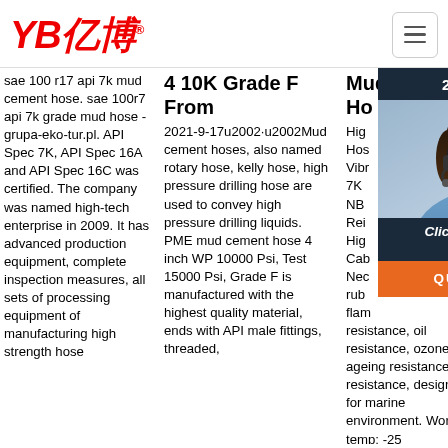[Figure (logo): YB亿博 company logo in red italic text with registered trademark symbol]
sae 100 r17 api 7k mud cement hose. sae 100r7 api 7k grade mud hose - grupa-eko-tur.pl. API Spec 7K, API Spec 16A and API Spec 16C was certified. The company was named high-tech enterprise in 2009. It has advanced production equipment, complete inspection measures, all sets of processing equipment of manufacturing high strength hose
4 10K Grade F From
2021-9-17u2002·u2002Mud cement hoses, also named rotary hose, kelly hose, high pressure drilling hose are used to convey high pressure drilling liquids. PME mud cement hose 4 inch WP 10000 Psi, Test 15000 Psi, Grade F is manufactured with the highest quality material, ends with API male fittings, threaded,
Mud & Cement Ho
High Hos Vibr 7K NB Rei Hig Cab Nec rub flam resistance, oil resistance, ozone & ageing resistance, UV resistance, designed for marine environment. Working temp: -25
[Figure (photo): Customer service representative woman with headset, chat widget overlay with 24/7 Online label, Click here for free chat text, and orange QUOTATION button]